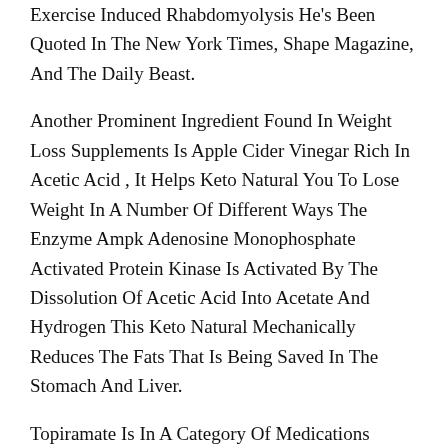Exercise Induced Rhabdomyolysis He's Been Quoted In The New York Times, Shape Magazine, And The Daily Beast.
Another Prominent Ingredient Found In Weight Loss Supplements Is Apple Cider Vinegar Rich In Acetic Acid , It Helps Keto Natural You To Lose Weight In A Number Of Different Ways The Enzyme Ampk Adenosine Monophosphate Activated Protein Kinase Is Activated By The Dissolution Of Acetic Acid Into Acetate And Hydrogen This Keto Natural Mechanically Reduces The Fats That Is Being Saved In The Stomach And Liver.
Topiramate Is In A Category Of Medications Referred To As Anticonvulsants It Works By Decreasing Urge For Food And By Causing Emotions Of Fullness To Last More After Consuming Trim Life Labs Keto Will Assist You To Obtain